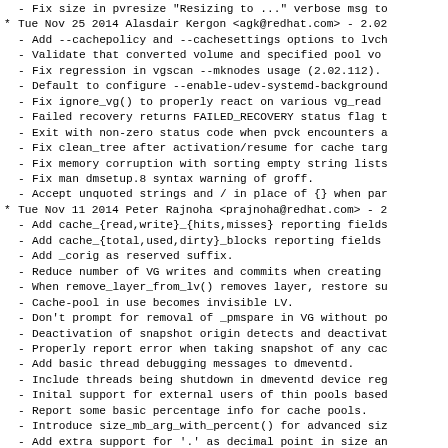- Fix size in pvresize "Resizing to ..." verbose msg to
* Tue Nov 25 2014 Alasdair Kergon <agk@redhat.com> - 2.02
- Add --cachepolicy and --cachesettings options to lvch
- Validate that converted volume and specified pool vo
- Fix regression in vgscan --mknodes usage (2.02.112).
- Default to configure --enable-udev-systemd-background
- Fix ignore_vg() to properly react on various vg_read
- Failed recovery returns FAILED_RECOVERY status flag t
- Exit with non-zero status code when pvck encounters a
- Fix clean_tree after activation/resume for cache targ
- Fix memory corruption with sorting empty string lists
- Fix man dmsetup.8 syntax warning of groff.
- Accept unquoted strings and / in place of {} when par
* Tue Nov 11 2014 Peter Rajnoha <prajnoha@redhat.com> - 2
- Add cache_{read,write}_{hits,misses} reporting fields
- Add cache_{total,used,dirty}_blocks reporting fields
- Add _corig as reserved suffix.
- Reduce number of VG writes and commits when creating
- When remove_layer_from_lv() removes layer, restore su
- Cache-pool in use becomes invisible LV.
- Don't prompt for removal of _pmspare in VG without po
- Deactivation of snapshot origin detects and deactivat
- Properly report error when taking snapshot of any cac
- Add basic thread debugging messages to dmeventd.
- Include threads being shutdown in dmeventd device reg
- Inital support for external users of thin pools based
- Report some basic percentage info for cache pools.
- Introduce size_mb_arg_with_percent() for advanced siz
- Add extra support for '.' as decimal point in size an
- Add configure parameters for default segment type cho